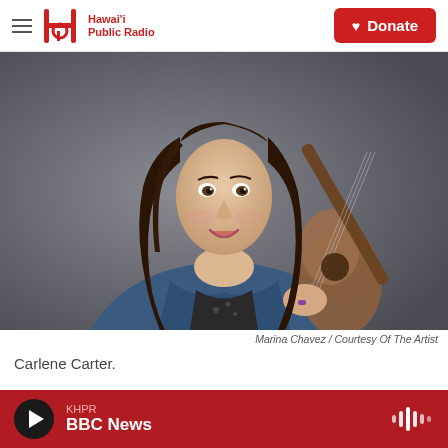Hawai'i Public Radio | Donate
[Figure (photo): Woman with long dark hair wearing a denim jacket, holding an acoustic guitar, smiling, against a dark grey background. This is Carlene Carter.]
Marina Chavez / Courtesy Of The Artist
Carlene Carter.
KHPR BBC News (player bar)